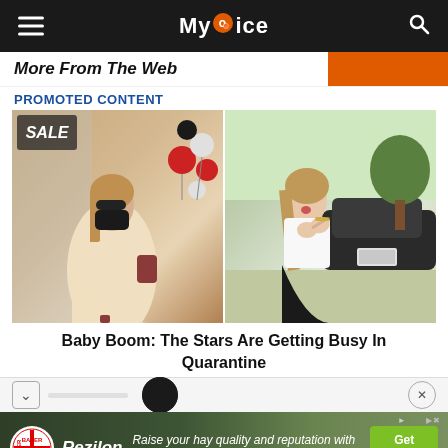My Voice
More From The Web
PROMOTED CONTENT
[Figure (photo): Two side-by-side paparazzi photos of pregnant women. Left: a woman in a cream dress wearing a black face mask, walking outside a store with red and black balloons. Right: a woman in a white t-shirt and black skirt looking surprised, outdoors near a car.]
Baby Boom: The Stars Are Getting Busy In Quarantine
[Figure (photo): Advertisement banner for Rezilon herbicide by Bayer, with green background, Bayer logo, brand name Rezilon, italic text reading 'Raise your hay quality and reputation with Rezilon® herbicide.' and a green 'Get Started >' button.]